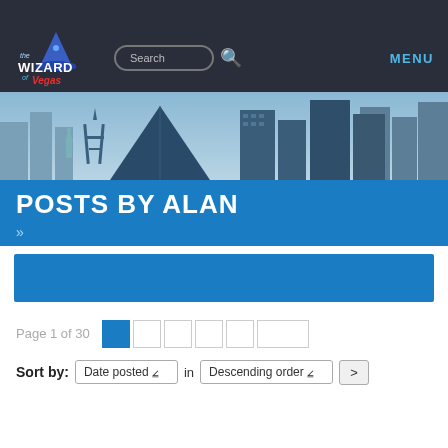[Figure (screenshot): Wizard of Vegas website logo with wizard hat character, blue and red neon styling]
Search
MENU
[Figure (illustration): Las Vegas skyline banner illustration with Luxor pyramid, Eiffel Tower replica, and skyscrapers in blue tones]
POSTS BY ALAN
»
[Figure (screenshot): Blue banner area below posts header]
Page 1 of 30
Sort by: Date posted in Descending order >